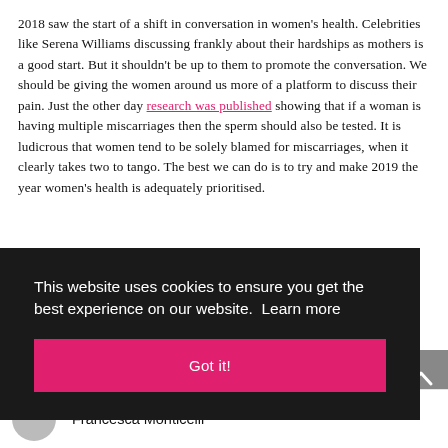2018 saw the start of a shift in conversation in women's health. Celebrities like Serena Williams discussing frankly about their hardships as mothers is a good start. But it shouldn't be up to them to promote the conversation. We should be giving the women around us more of a platform to discuss their pain. Just the other day research was published showing that if a woman is having multiple miscarriages then the sperm should also be tested. It is ludicrous that women tend to be solely blamed for miscarriages, when it clearly takes two to tango. The best we can do is to try and make 2019 the year women's health is adequately prioritised.
This website uses cookies to ensure you get the best experience on our website. Learn more
Got it!
Francesca Monticelli